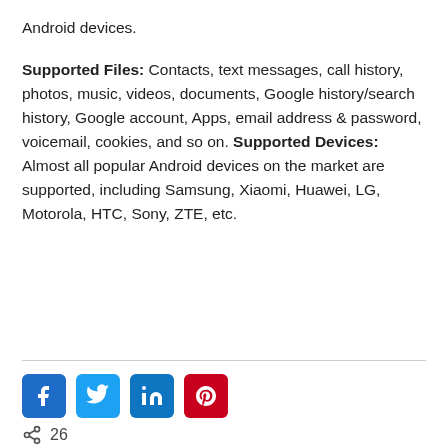Android devices.
Supported Files: Contacts, text messages, call history, photos, music, videos, documents, Google history/search history, Google account, Apps, email address & password, voicemail, cookies, and so on. Supported Devices: Almost all popular Android devices on the market are supported, including Samsung, Xiaomi, Huawei, LG, Motorola, HTC, Sony, ZTE, etc.
[Figure (other): Social sharing buttons row: Facebook, Twitter, LinkedIn, Pinterest]
26